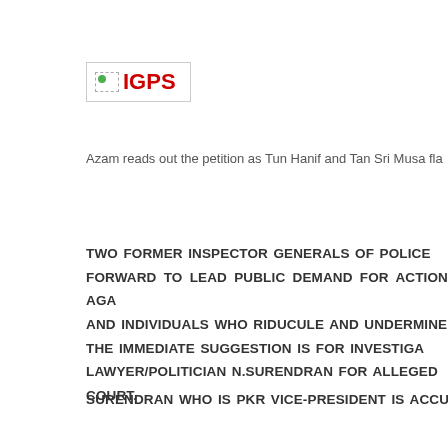[Figure (logo): IGPS logo with broken image icon and red bold text 'IGPS' inside a bordered box]
Azam reads out the petition as Tun Hanif and Tan Sri Musa fla
TWO FORMER INSPECTOR GENERALS OF POLICE FORWARD TO LEAD PUBLIC DEMAND FOR ACTION AGA AND INDIVIDUALS WHO RIDUCULE AND UNDERMINE THE IMMEDIATE SUGGESTION IS FOR INVESTIGA LAWYER/POLITICIAN N.SURENDRAN FOR ALLEGED COURT.
SURENDRAN WHO IS PKR VICE-PRESIDENT IS ACCU